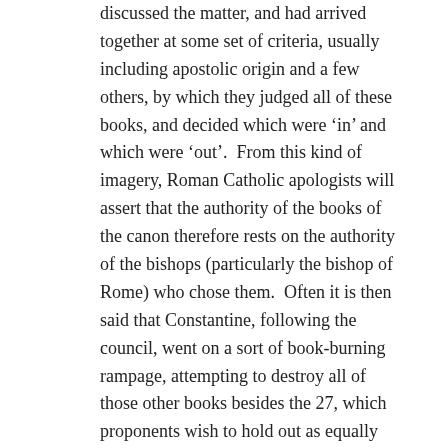discussed the matter, and had arrived together at some set of criteria, usually including apostolic origin and a few others, by which they judged all of these books, and decided which were ‘in’ and which were ‘out’.  From this kind of imagery, Roman Catholic apologists will assert that the authority of the books of the canon therefore rests on the authority of the bishops (particularly the bishop of Rome) who chose them.  Often it is then said that Constantine, following the council, went on a sort of book-burning rampage, attempting to destroy all of those other books besides the 27, which proponents wish to hold out as equally legitimate, in order to conceal their contents.
The main problem with this approach is that it is grounded entirely in fiction.  The canon of the New